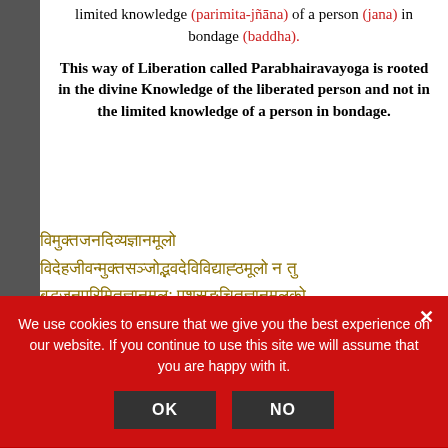limited knowledge (parimita-jñāna) of a person (jana) in bondage (baddha).
This way of Liberation called Parabhairavayoga is rooted in the divine Knowledge of the liberated person and not in the limited knowledge of a person in bondage.
विमुक्तजनदिव्यज्ञानमूलो विदेहजीवन्मुक्तसञ्जोद्भवदेविविद्याह्ठमूलो न तु बद्धजनपरिमितज्ञानमूलः पशुसङुचितज्ञानमूलको मुक्तिमार्गो मोक्षपथोऽयं परभैर्वयोगो नामा भूयिष्ठ सुखानां मद्येऽव्यन+ मायावाहुसु दोलनन स्वापयतेऽन्यतश् सुप्रवृद्धास्तञ्चयं द्वितायमनुष्यापेशं यद्वा तद्वा भवतु
We use cookies to ensure that we give you the best experience on our website. If you continue to use this site we will assume that you are happy with it.